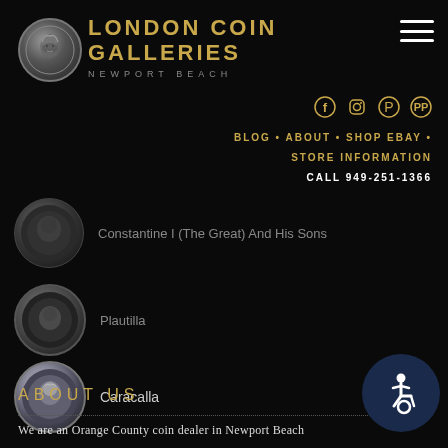[Figure (logo): London Coin Galleries logo: circular coin/medallion with face relief]
LONDON COIN GALLERIES
NEWPORT BEACH
[Figure (infographic): Hamburger menu icon (three horizontal lines)]
[Figure (infographic): Social media icons: Facebook, Instagram, Pinterest, PayPal]
BLOG • ABOUT • SHOP EBAY • STORE INFORMATION
CALL 949-251-1366
Constantine I (The Great) And His Sons
Plautilla
Caracalla
ABOUT US
We are an Orange County coin dealer in Newport Beach